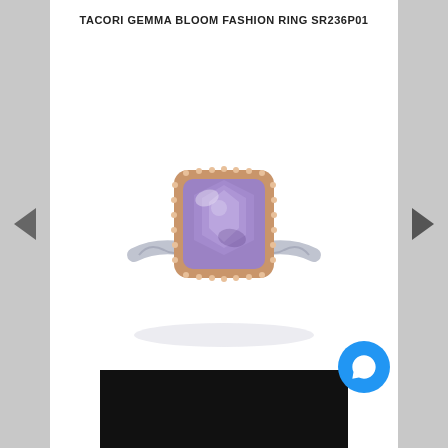TACORI GEMMA BLOOM FASHION RING SR236P01
[Figure (photo): A Tacori Gemma Bloom fashion ring featuring a cushion-cut purple/lavender amethyst center stone surrounded by a rose gold halo of small diamonds, set on a silver band with decorative filigree detailing. The ring is photographed on a white background.]
[Figure (photo): Black rectangle partially visible at the bottom — partially obscured thumbnail or UI element.]